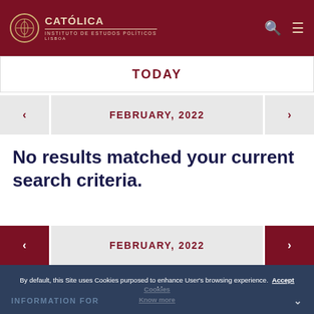CATÓLICA INSTITUTO DE ESTUDOS POLÍTICOS LISBOA
TODAY
FEBRUARY, 2022
No results matched your current search criteria.
FEBRUARY, 2022
By default, this Site uses Cookies purposed to enhance User's browsing experience. Accept Cookies Know more
INFORMATION FOR